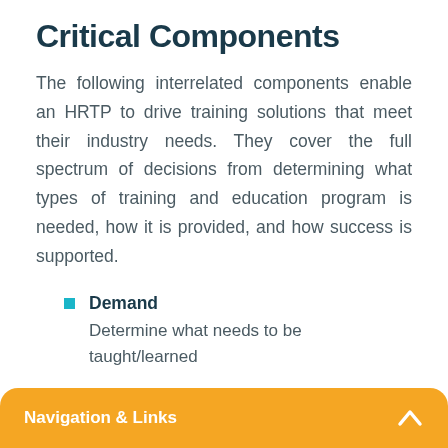Critical Components
The following interrelated components enable an HRTP to drive training solutions that meet their industry needs. They cover the full spectrum of decisions from determining what types of training and education program is needed, how it is provided, and how success is supported.
Demand — Determine what needs to be taught/learned
Supply
Navigation & Links